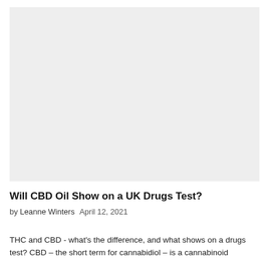[Figure (photo): Light grey rectangular placeholder image area for the article header image]
Will CBD Oil Show on a UK Drugs Test?
by Leanne Winters    April 12, 2021
THC and CBD - what's the difference, and what shows on a drugs test? CBD – the short term for cannabidiol – is a cannabinoid